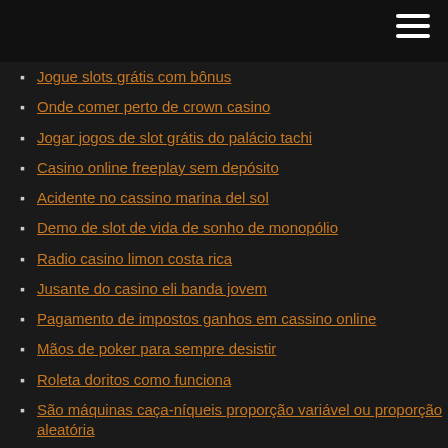Jogue slots grátis com bônus
Onde comer perto de crown casino
Jogar jogos de slot grátis do palácio tachi
Casino online freeplay sem depósito
Acidente no cassino marina del sol
Demo de slot de vida de sonho de monopólio
Radio casino limon costa rica
Jusante do casino eli banda jovem
Pagamento de impostos ganhos em cassino online
Mãos de poker para sempre desistir
Roleta doritos como funciona
São máquinas caça-níqueis proporção variável ou proporção aleatória
Zodiac casino códigos de bônus sem depósito 2021